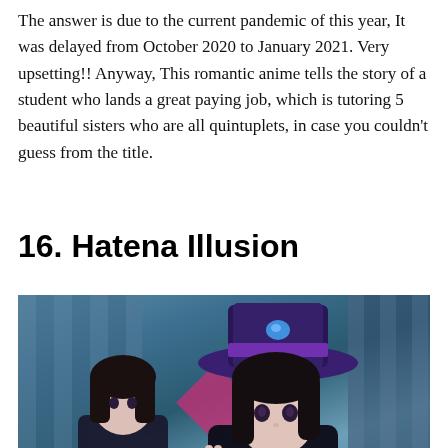The answer is due to the current pandemic of this year, It was delayed from October 2020 to January 2021. Very upsetting!! Anyway, This romantic anime tells the story of a student who lands a great paying job, which is tutoring 5 beautiful sisters who are all quintuplets, in case you couldn't guess from the title.
16. Hatena Illusion
[Figure (photo): Screenshot from the anime Hatena Illusion showing two anime characters, a girl wearing a large purple top hat with a blue gem, dressed in dark clothing, alongside another character. Background includes vertical panels and a star decoration.]